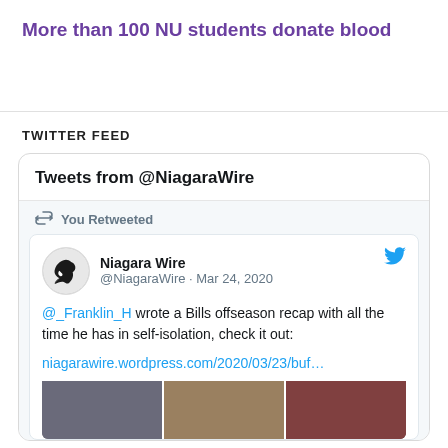More than 100 NU students donate blood
TWITTER FEED
[Figure (screenshot): Twitter feed widget showing tweets from @NiagaraWire. A retweet from Niagara Wire (@NiagaraWire, Mar 24, 2020) reads: '@_Franklin_H wrote a Bills offseason recap with all the time he has in self-isolation, check it out: niagarawire.wordpress.com/2020/03/23/buf…' followed by a sports image strip.]